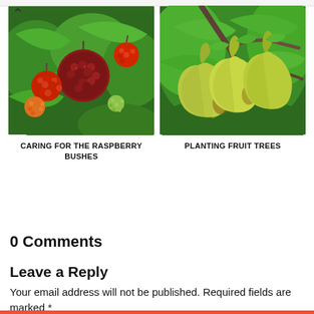[Figure (photo): Close-up photo of red and unripe raspberries on a green leafy bush]
CARING FOR THE RASPBERRY BUSHES
[Figure (photo): Photo of green pears hanging from a tree branch surrounded by leaves]
PLANTING FRUIT TREES
0 Comments
Leave a Reply
Your email address will not be published. Required fields are marked *